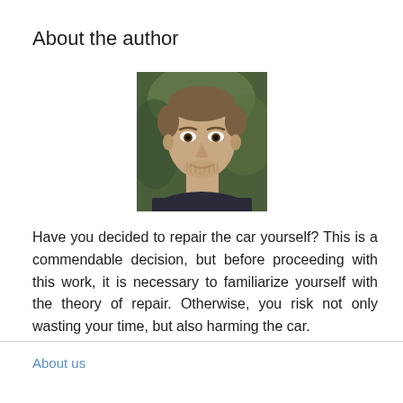About the author
[Figure (photo): Headshot photo of a man with light stubble beard, looking at camera, with blurred green background]
Have you decided to repair the car yourself? This is a commendable decision, but before proceeding with this work, it is necessary to familiarize yourself with the theory of repair. Otherwise, you risk not only wasting your time, but also harming the car.
About us